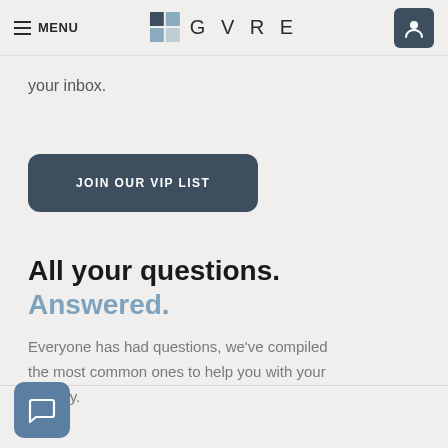MENU | GVRE
your inbox.
JOIN OUR VIP LIST
All your questions. Answered.
Everyone has had questions, we've compiled the most common ones to help you with your journey.